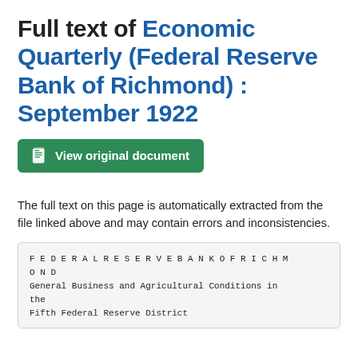Full text of Economic Quarterly (Federal Reserve Bank of Richmond) : September 1922
View original document
The full text on this page is automatically extracted from the file linked above and may contain errors and inconsistencies.
F E D E R A L R E S E R V E B A N K O F R I C H M O N D
General Business and Agricultural Conditions in the
Fifth Federal Reserve District